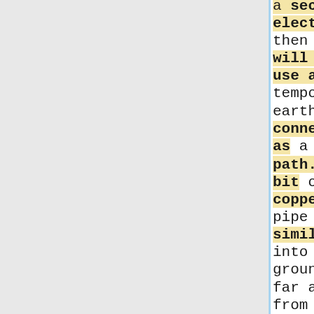a secondary electrode, then you will need to use another temporary earth connection as a return path. bash a bit of copper water pipe (or similar) into the ground as far away from the electrode under test as you can manage, and